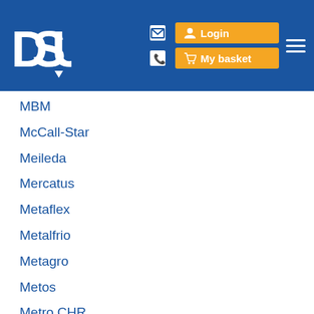[Figure (logo): DSV logo — white bold letters on blue background with down-arrow]
MBM
McCall-Star
Meileda
Mercatus
Metaflex
Metalfrio
Metagro
Metos
Metro CHR
Migali
Migan
Migel
Minicel
Minks Marynen
Misa
MIWE